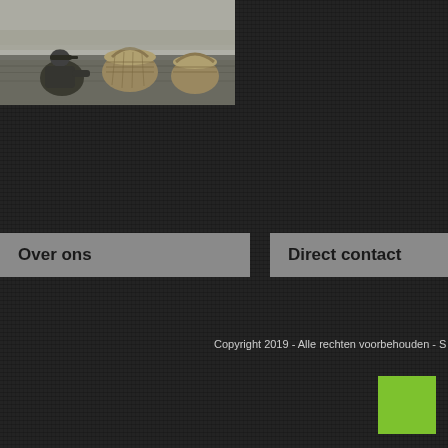[Figure (photo): Black and white photo of a person wearing a cap sitting near large wicker baskets outdoors]
Over ons
Direct contact
Copyright 2019 - Alle rechten voorbehouden - S
[Figure (other): Green square decorative element in bottom right corner]